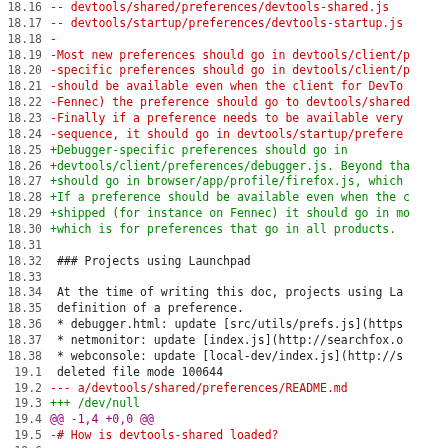Code diff view showing lines 18.16 through 20.1 with line numbers, red deleted lines, green added lines, and black context lines in monospace font.